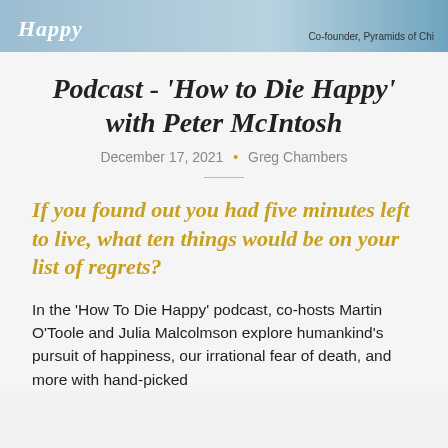[Figure (photo): Top banner image showing a person in a gray t-shirt with text 'Co-founder, Pyramids of Chi' on the right side against a blue background]
Podcast - ‘How to Die Happy’ with Peter McIntosh
December 17, 2021 • Greg Chambers
If you found out you had five minutes left to live, what ten things would be on your list of regrets?
In the ‘How To Die Happy’ podcast, co-hosts Martin O'Toole and Julia Malcolmson explore humankind’s pursuit of happiness, our irrational fear of death, and more with hand-picked...